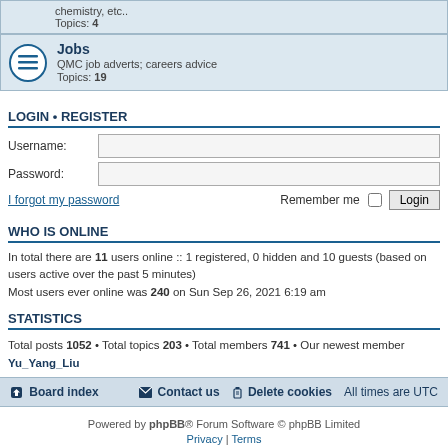chemistry, etc.. Topics: 4
Jobs
QMC job adverts; careers advice
Topics: 19
LOGIN • REGISTER
Username:
Password:
I forgot my password   Remember me  Login
WHO IS ONLINE
In total there are 11 users online :: 1 registered, 0 hidden and 10 guests (based on users active over the past 5 minutes)
Most users ever online was 240 on Sun Sep 26, 2021 6:19 am
STATISTICS
Total posts 1052 • Total topics 203 • Total members 741 • Our newest member Yu_Yang_Liu
Board index   Contact us   Delete cookies   All times are UTC
Powered by phpBB® Forum Software © phpBB Limited
Privacy | Terms